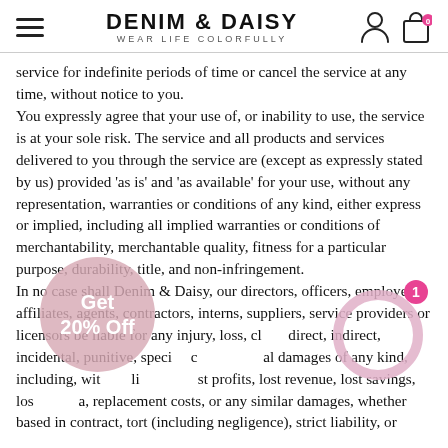DENIM & DAISY — WEAR LIFE COLORFULLY
service for indefinite periods of time or cancel the service at any time, without notice to you.
You expressly agree that your use of, or inability to use, the service is at your sole risk. The service and all products and services delivered to you through the service are (except as expressly stated by us) provided 'as is' and 'as available' for your use, without any representation, warranties or conditions of any kind, either express or implied, including all implied warranties or conditions of merchantability, merchantable quality, fitness for a particular purpose, durability, title, and non-infringement.
In no case shall Denim & Daisy, our directors, officers, employees, affiliates, agents, contractors, interns, suppliers, service providers or licensors be liable for any injury, loss, claim, or any direct, indirect, incidental, punitive, special, or consequential damages of any kind, including, without limitation, lost profits, lost revenue, lost savings, loss of data, replacement costs, or any similar damages, whether based in contract, tort (including negligence), strict liability, or